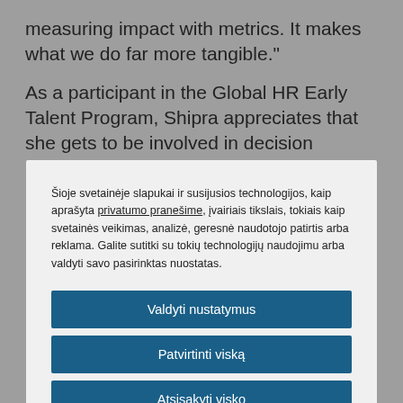measuring impact with metrics. It makes what we do far more tangible."
As a participant in the Global HR Early Talent Program, Shipra appreciates that she gets to be involved in decision making and take ownership of projects. She had a personal epiphany when she
Šioje svetainėje slapukai ir susijusios technologijos, kaip aprašyta privatumo pranešime, įvairiais tikslais, tokiais kaip svetainės veikimas, analizė, geresnė naudotojo patirtis arba reklama. Galite sutitki su tokių technologijų naudojimu arba valdyti savo pasirinktas nuostatas.
Valdyti nustatymus
Patvirtinti viską
Atsisakyti visko
Pareiškimas apie slapukus
Continuous support during her career has raised her